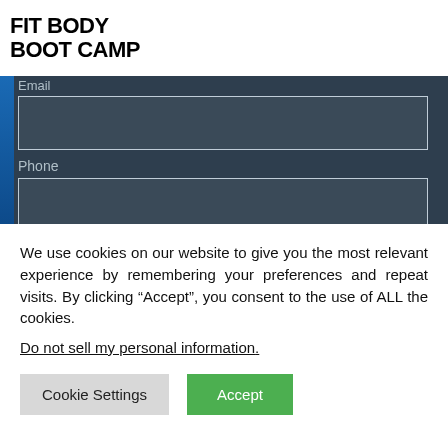[Figure (logo): Fit Body Boot Camp logo in black bold uppercase text on white background]
Email
[Figure (screenshot): Email input field (empty text box with border on dark blue-grey background)]
Phone
[Figure (screenshot): Phone input field (empty text box with border on dark blue-grey background)]
City
[Figure (screenshot): City input field (empty text box with border on dark blue-grey background)]
We use cookies on our website to give you the most relevant experience by remembering your preferences and repeat visits. By clicking “Accept”, you consent to the use of ALL the cookies.
Do not sell my personal information.
Cookie Settings
Accept